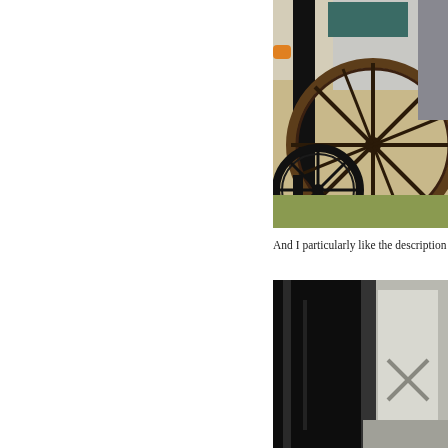[Figure (photo): Close-up photograph of a horse-drawn carriage or buggy showing large wooden spoke wheels, black painted frame, and a teal/green padded seat. An orange reflector is visible on the left side. The background shows grass and another wagon.]
And I particularly like the description
[Figure (photo): Close-up photograph of a dark black wooden carriage or wagon panel/door, with what appears to be a white structure visible on the right side in the background.]